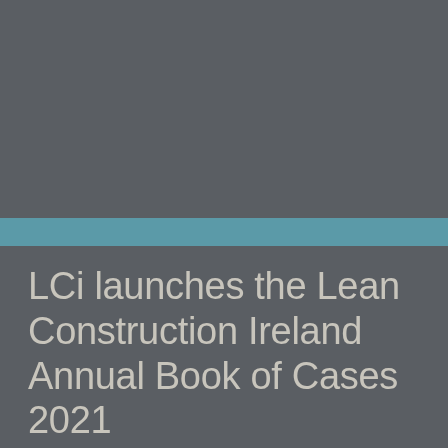LCi launches the Lean Construction Ireland Annual Book of Cases 2021
16/12/2021
LCi Book of Cases